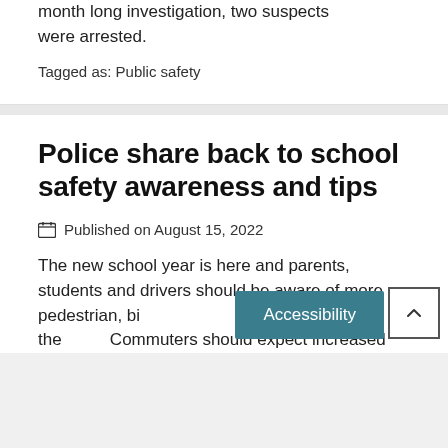month long investigation, two suspects were arrested.
Tagged as: Public safety
Police share back to school safety awareness and tips
Published on August 15, 2022
The new school year is here and parents, students and drivers should be aware of more pedestrian, bicycle, skateboard and vehicle traffic in the area. Commuters should expect increased congestion throughout the entire school...